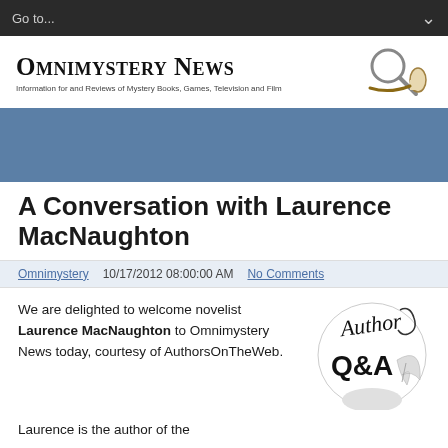Go to...
[Figure (logo): Omnimystery News banner logo with magnifying glass and pipe icon. Text: OMNIMYSTERY NEWS — Information for and Reviews of Mystery Books, Games, Television and Film]
A Conversation with Laurence MacNaughton
Omnimystery   10/17/2012 08:00:00 AM   No Comments
We are delighted to welcome novelist Laurence MacNaughton to Omnimystery News today, courtesy of AuthorsOnTheWeb.
[Figure (illustration): Author Q&A decorative badge with cursive 'Author' text and 'Q&A' in bold, with quill pen illustration]
Laurence is the author of the